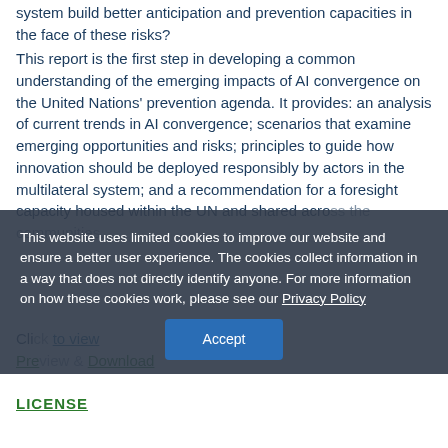system build better anticipation and prevention capacities in the face of these risks?
This report is the first step in developing a common understanding of the emerging impacts of AI convergence on the United Nations' prevention agenda. It provides: an analysis of current trends in AI convergence; scenarios that examine emerging opportunities and risks; principles to guide how innovation should be deployed responsibly by actors in the multilateral system; and a recommendation for a foresight capacity housed within the UN and shared across the communities.
Click to view
Preview & Download
This website uses limited cookies to improve our website and ensure a better user experience. The cookies collect information in a way that does not directly identify anyone. For more information on how these cookies work, please see our Privacy Policy
Accept
LICENSE